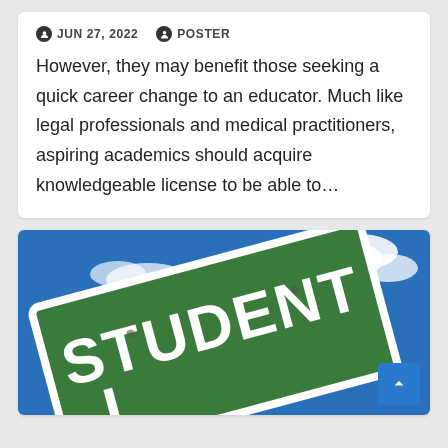JUN 27, 2022   POSTER
However, they may benefit those seeking a quick career change to an educator. Much like legal professionals and medical practitioners, aspiring academics should acquire knowledgeable license to be able to…
[Figure (photo): A green street-style road sign reading 'STUDENT L...' photographed against a blue sky with white clouds.]